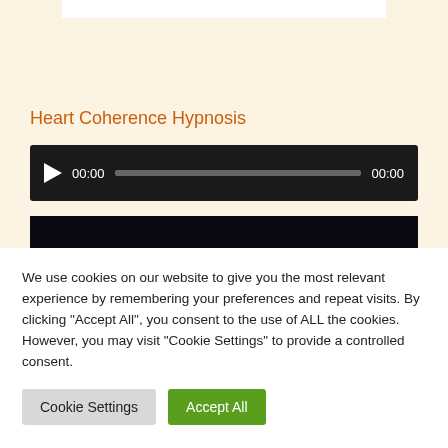[Figure (screenshot): White bar at top of page, partial UI element]
Heart Coherence Hypnosis
[Figure (screenshot): Audio player with play button, 00:00 timestamp, progress bar, and 00:00 end time on dark background]
[Figure (photo): Dark/nearly black video thumbnail with a faint light dot visible]
We use cookies on our website to give you the most relevant experience by remembering your preferences and repeat visits. By clicking "Accept All", you consent to the use of ALL the cookies. However, you may visit "Cookie Settings" to provide a controlled consent.
Cookie Settings | Accept All